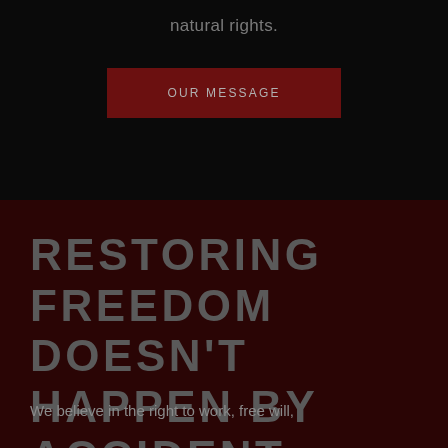natural rights.
OUR MESSAGE
RESTORING FREEDOM DOESN'T HAPPEN BY ACCIDENT
We believe in the right to work, free will,